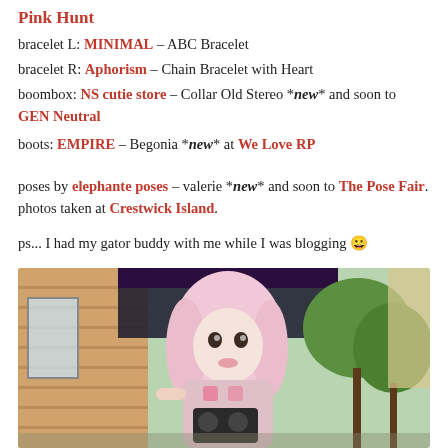Pink Hunt
bracelet L: MINIMAL – ABC Bracelet
bracelet R: Aphorism – Chain Bracelet with Heart
boombox: NS cutie store – Collar Old Stereo *new* and soon to GEN Neutral
boots: EMPIRE – Begonia *new* at We Love RP
poses by elephante poses – valerie *new* and soon to The Pose Fair. photos taken at Crestwick Island.
ps... I had my gator buddy with me while I was blogging 😀
[Figure (photo): Virtual world avatar — a pink-haired anime-style female character holding a boombox, standing in front of a brick building with trees in the background]